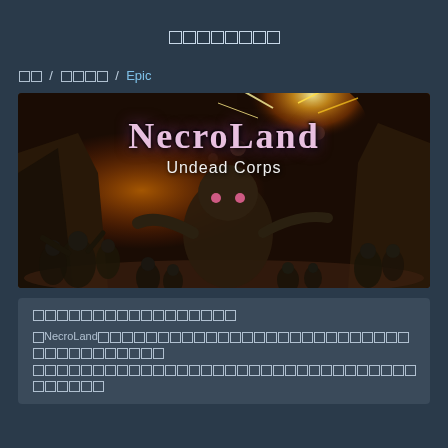エピックゲーム
ゲーム / エピックゲーム / Epic
[Figure (screenshot): NecroLand: Undead Corps game key art featuring the game title logo with zombie and robot characters against an explosion background]
エピックゲームストアで無料配布中
「NecroLand」はネクロマンサーを操作してアンデッドの軍団を率いて戦うローグライクアクションゲームです。様々なスキルやアビリティを駆使してダンジョンを攻略しましょう。